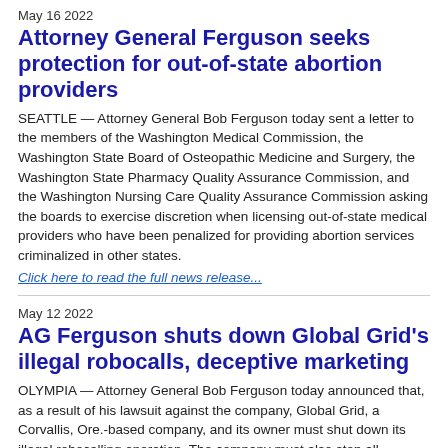May 16 2022
Attorney General Ferguson seeks protection for out-of-state abortion providers
SEATTLE — Attorney General Bob Ferguson today sent a letter to the members of the Washington Medical Commission, the Washington State Board of Osteopathic Medicine and Surgery, the Washington State Pharmacy Quality Assurance Commission, and the Washington Nursing Care Quality Assurance Commission asking the boards to exercise discretion when licensing out-of-state medical providers who have been penalized for providing abortion services criminalized in other states.
Click here to read the full news release...
May 12 2022
AG Ferguson shuts down Global Grid's illegal robocalls, deceptive marketing
OLYMPIA — Attorney General Bob Ferguson today announced that, as a result of his lawsuit against the company, Global Grid, a Corvallis, Ore.-based company, and its owner must shut down its illegal robocalling operation. The company must also stop all deceptive marketing practices, including misrepresentations